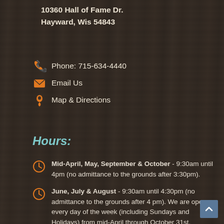10360 Hall of Fame Dr.
Hayward, Wis 54843
Phone: 715-634-4440
Email Us
Map & Directions
Hours:
Mid-April, May, September & October - 9:30am until 4pm (no admittance to the grounds after 3:30pm).
June, July & August - 9:30am until 4:30pm (no admittance to the grounds after 4 pm). We are open every day of the week (including Sundays and Holidays) from mid-April through October 31st.